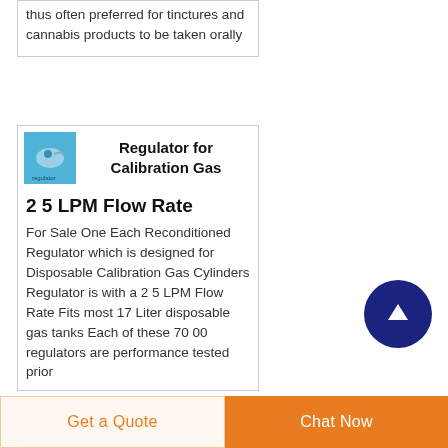thus often preferred for tinctures and cannabis products to be taken orally
[Figure (photo): Small product thumbnail image in blue/teal color showing a regulator device]
Regulator for Calibration Gas
2 5 LPM Flow Rate
For Sale One Each Reconditioned Regulator which is designed for Disposable Calibration Gas Cylinders Regulator is with a 2 5 LPM Flow Rate Fits most 17 Liter disposable gas tanks Each of these 70 00 regulators are performance tested prior
[Figure (other): Dark navy blue circular scroll-to-top button with white upward arrow]
Get a Quote
Chat Now